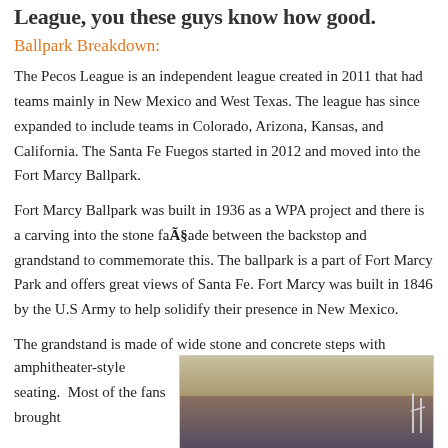League, you these guys know how good.
Ballpark Breakdown:
The Pecos League is an independent league created in 2011 that had teams mainly in New Mexico and West Texas.  The league has since expanded to include teams in Colorado, Arizona, Kansas, and California. The Santa Fe Fuegos started in 2012 and moved into the Fort Marcy Ballpark.
Fort Marcy Ballpark was built in 1936 as a WPA project and there is a carving into the stone faÃ§ade between the backstop and grandstand to commemorate this. The ballpark is a part of Fort Marcy Park and offers great views of Santa Fe.  Fort Marcy was built in 1846 by the U.S Army to help solidify their presence in New Mexico.
The grandstand is made of wide stone and concrete steps with amphitheater-style seating.  Most of the fans brought
[Figure (photo): Photo of Fort Marcy Ballpark grandstand showing covered seating area with stone and concrete structure]